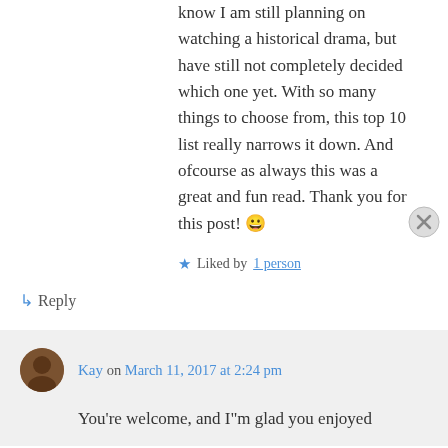know I am still planning on watching a historical drama, but have still not completely decided which one yet. With so many things to choose from, this top 10 list really narrows it down. And ofcourse as always this was a great and fun read. Thank you for this post! 😀
★ Liked by 1 person
↳ Reply
Kay on March 11, 2017 at 2:24 pm
You're welcome, and I"m glad you enjoyed
Advertisements
[Figure (screenshot): Seamless food delivery advertisement banner showing pizza slices on the left, a red Seamless logo button in the center, and an ORDER NOW button on the right against a dark background.]